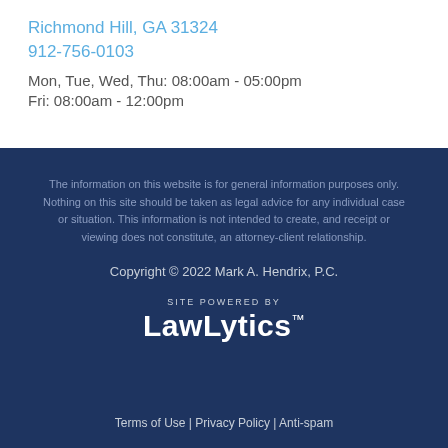Richmond Hill, GA 31324
912-756-0103
Mon, Tue, Wed, Thu: 08:00am - 05:00pm
Fri: 08:00am - 12:00pm
The information on this website is for general information purposes only. Nothing on this site should be taken as legal advice for any individual case or situation. This information is not intended to create, and receipt or viewing does not constitute, an attorney-client relationship.
Copyright © 2022 Mark A. Hendrix, P.C.
SITE POWERED BY LawLytics™
Terms of Use | Privacy Policy | Anti-spam